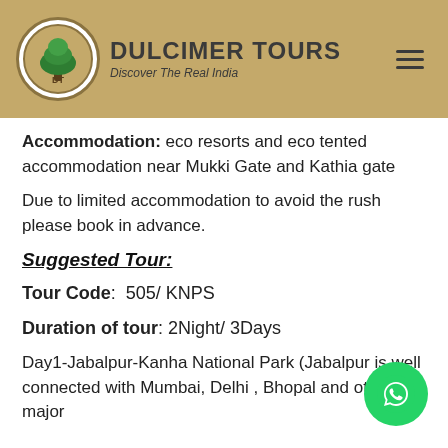[Figure (logo): Dulcimer Tours logo with tree icon and tagline 'Discover The Real India' on a tan/khaki header bar with hamburger menu icon]
Accommodation: eco resorts and eco tented accommodation near Mukki Gate and Kathia gate
Due to limited accommodation to avoid the rush please book in advance.
Suggested Tour:
Tour Code:  505/ KNPS
Duration of tour: 2Night/ 3Days
Day1-Jabalpur-Kanha National Park (Jabalpur is well connected with Mumbai, Delhi , Bhopal and other major